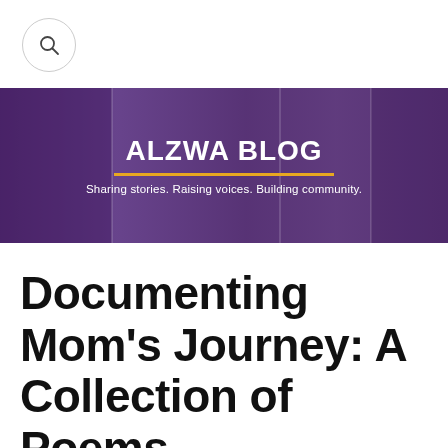[Figure (other): Search icon button — circular outline with a magnifying glass symbol]
[Figure (photo): ALZWA BLOG banner with purple-overlaid collage of people including elderly individuals and families. Banner reads 'ALZWA BLOG' in large white bold text with an orange underline, and subtitle 'Sharing stories. Raising voices. Building community.']
Documenting Mom's Journey: A Collection of Poems